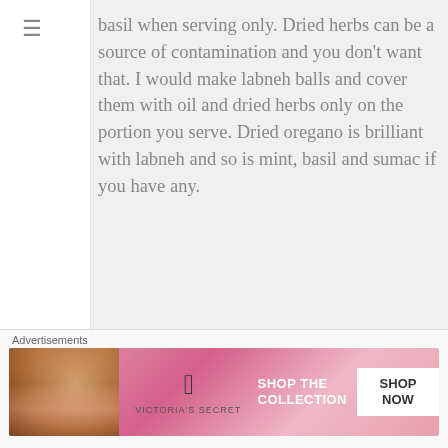basil when serving only. Dried herbs can be a source of contamination and you don't want that. I would make labneh balls and cover them with oil and dried herbs only on the portion you serve. Dried oregano is brilliant with labneh and so is mint, basil and sumac if you have any.
Mike on December 12, 2012 at 3:30 PM — Like
Okay sounds good. Don't want to poison the family. Thanks again !
[Figure (illustration): Victoria's Secret advertisement banner with model photo on left, VS logo and brand name in center, 'SHOP THE COLLECTION' text, and 'SHOP NOW' button on pink/rose gradient background.]